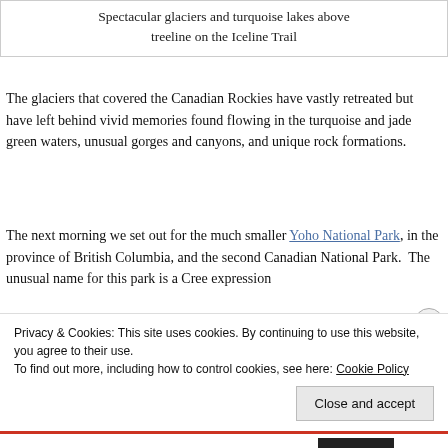Spectacular glaciers and turquoise lakes above treeline on the Iceline Trail
The glaciers that covered the Canadian Rockies have vastly retreated but have left behind vivid memories found flowing in the turquoise and jade green waters, unusual gorges and canyons, and unique rock formations.
The next morning we set out for the much smaller Yoho National Park, in the province of British Columbia, and the second Canadian National Park. The unusual name for this park is a Cree expression
Privacy & Cookies: This site uses cookies. By continuing to use this website, you agree to their use.
To find out more, including how to control cookies, see here: Cookie Policy
Close and accept